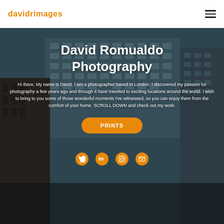davidrimages
[Figure (photo): Urban cityscape photo showing modern apartment buildings with glass facades and brick buildings in the foreground, teal/dark blue tones, serving as a hero background image]
David Romualdo Photography
Hi there, My name is David, I am a photographer based in London. I discovered my passion for photography a few years ago and through it have traveled to exciting locations around the world. I wish to bring to you some of those wonderful moments I've witnessed, so you can enjoy them from the comfort of your home. SCROLL DOWN and check out my work.
PRINTS
[Figure (infographic): Social media icons row: Twitter bird icon, Behance logo, Instagram camera icon, Email envelope icon — all in orange circles]